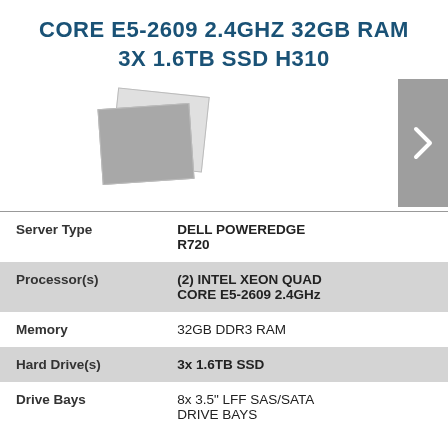CORE E5-2609 2.4GHZ 32GB RAM 3X 1.6TB SSD H310
[Figure (photo): Stacked product photos of server hardware with a gray arrow navigation button on the right]
| Server Type | DELL POWEREDGE R720 |
| Processor(s) | (2) INTEL XEON QUAD CORE E5-2609 2.4GHz |
| Memory | 32GB DDR3 RAM |
| Hard Drive(s) | 3x 1.6TB SSD |
| Drive Bays | 8x 3.5" LFF SAS/SATA DRIVE BAYS |